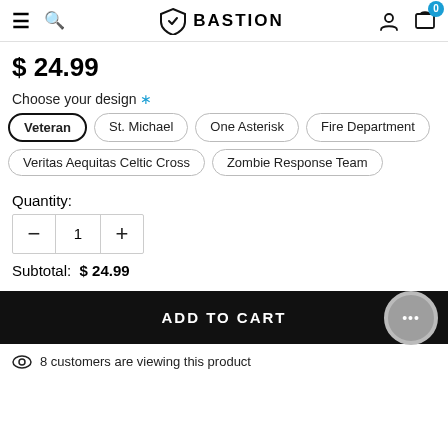BASTION (navigation bar with hamburger, search, logo, account, cart)
$ 24.99
Choose your design *
Veteran (selected)
St. Michael
One Asterisk
Fire Department
Veritas Aequitas Celtic Cross
Zombie Response Team
Quantity:
1
Subtotal:  $ 24.99
ADD TO CART
8 customers are viewing this product